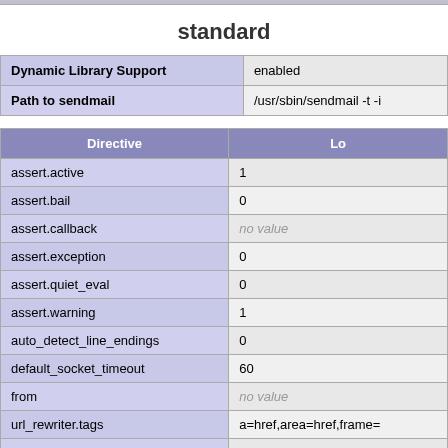standard
|  |  |
| --- | --- |
| Dynamic Library Support | enabled |
| Path to sendmail | /usr/sbin/sendmail -t -i |
| Directive | Lo |
| --- | --- |
| assert.active | 1 |
| assert.bail | 0 |
| assert.callback | no value |
| assert.exception | 0 |
| assert.quiet_eval | 0 |
| assert.warning | 1 |
| auto_detect_line_endings | 0 |
| default_socket_timeout | 60 |
| from | no value |
| url_rewriter.tags | a=href,area=href,frame= |
| user_agent | no value |
tokenizer